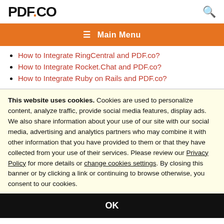PDF.CO
≡ Main Menu
How to Integrate RingCentral and PDF.co?
How to Integrate Rocket.Chat and PDF.co?
How to Integrate Ruby on Rails and PDF.co?
This website uses cookies. Cookies are used to personalize content, analyze traffic, provide social media features, display ads. We also share information about your use of our site with our social media, advertising and analytics partners who may combine it with other information that you have provided to them or that they have collected from your use of their services. Please review our Privacy Policy for more details or change cookies settings. By closing this banner or by clicking a link or continuing to browse otherwise, you consent to our cookies.
OK